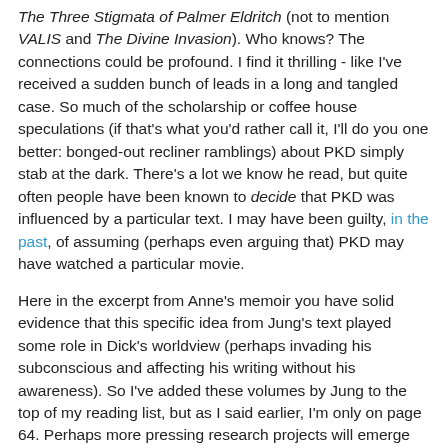The Three Stigmata of Palmer Eldritch (not to mention VALIS and The Divine Invasion). Who knows? The connections could be profound. I find it thrilling - like I've received a sudden bunch of leads in a long and tangled case. So much of the scholarship or coffee house speculations (if that's what you'd rather call it, I'll do you one better: bonged-out recliner ramblings) about PKD simply stab at the dark. There's a lot we know he read, but quite often people have been known to decide that PKD was influenced by a particular text. I may have been guilty, in the past, of assuming (perhaps even arguing that) PKD may have watched a particular movie.
Here in the excerpt from Anne's memoir you have solid evidence that this specific idea from Jung's text played some role in Dick's worldview (perhaps invading his subconscious and affecting his writing without his awareness). So I've added these volumes by Jung to the top of my reading list, but as I said earlier, I'm only on page 64. Perhaps more pressing research projects will emerge as I proceed.
Buy your copy today.